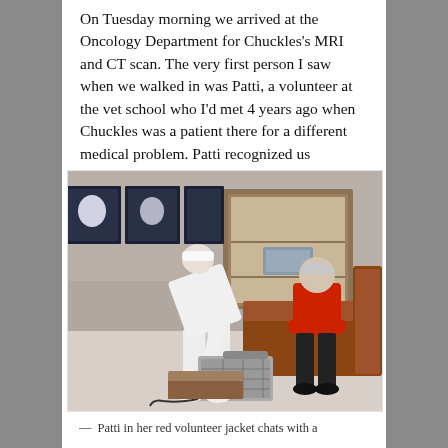On Tuesday morning we arrived at the Oncology Department for Chuckles's MRI and CT scan. The very first person I saw when we walked in was Patti, a volunteer at the vet school who I'd met 4 years ago when Chuckles was a patient there for a different medical problem. Patti recognized us immediately and we had a sweet reunion.
[Figure (photo): Indoor waiting room scene showing a person in white clothing bending over a pet carrier, while an older woman in a red jacket sits on a brown leather bench/couch. Behind them is a wooden display cabinet and framed animal photos on the wall.]
— Patti in her red volunteer jacket chats with a